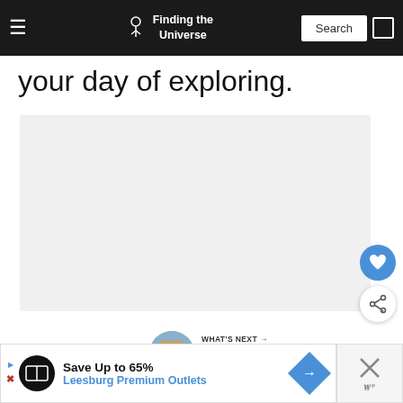Finding the Universe | Search
your day of exploring.
[Figure (photo): Large image placeholder box with light gray background]
[Figure (illustration): Blue circular heart/favorite button]
[Figure (illustration): White circular share button with share icon]
WHAT'S NEXT → 3 Days in Vienna: The...
Save Up to 65% Leesburg Premium Outlets